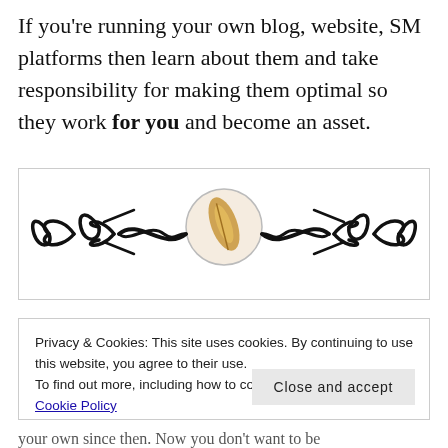If you're running your own blog, website, SM platforms then learn about them and take responsibility for making them optimal so they work for you and become an asset.
[Figure (illustration): Decorative ornamental divider with swirling flourishes and a central circle containing a golden quill feather icon]
Privacy & Cookies: This site uses cookies. By continuing to use this website, you agree to their use.
To find out more, including how to control cookies, see here: Cookie Policy
Close and accept
your own since then. Now you don't want to be